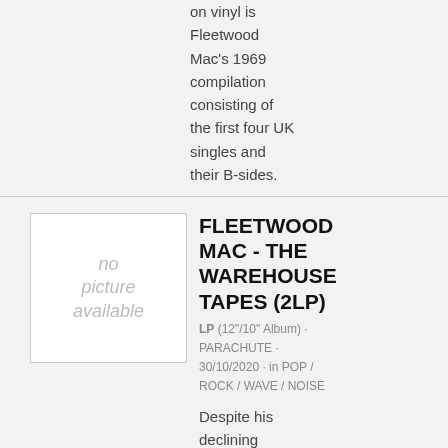on vinyl is Fleetwood Mac's 1969 compilation consisting of the first four UK singles and their B-sides.
FLEETWOOD MAC - THE WAREHOUSE TAPES (2LP)
LP (12"/10" Album) · PARACHUTE · 30/10/2020 · in POP / ROCK / WAVE / NOISE
Despite his declining mental condition, Peter Green performed with